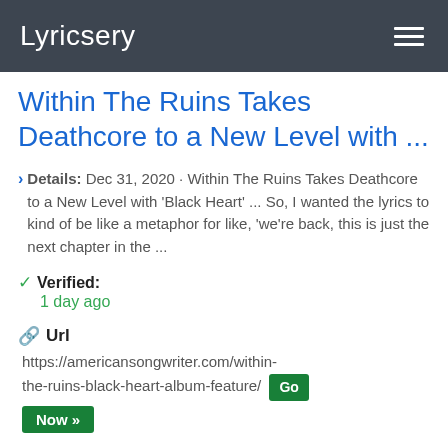Lyricsery
Within The Ruins Takes Deathcore to a New Level with ...
Details: Dec 31, 2020 · Within The Ruins Takes Deathcore to a New Level with 'Black Heart' ... So, I wanted the lyrics to kind of be like a metaphor for like, 'we're back, this is just the next chapter in the ...
Verified: 1 day ago
Url https://americansongwriter.com/within-the-ruins-black-heart-album-feature/